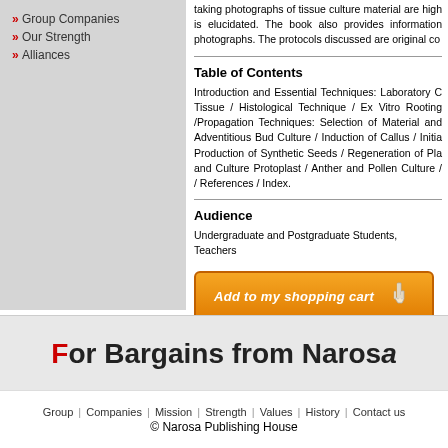Group Companies
Our Strength
Alliances
taking photographs of tissue culture material are high is elucidated. The book also provides information photographs. The protocols discussed are original co
Table of Contents
Introduction and Essential Techniques: Laboratory C Tissue / Histological Technique / Ex Vitro Rooting /Propagation Techniques: Selection of Material and Adventitious Bud Culture / Induction of Callus / Initia Production of Synthetic Seeds / Regeneration of Pla and Culture Protoplast / Anther and Pollen Culture / / References / Index.
Audience
Undergraduate and Postgraduate Students, Teachers
[Figure (other): Add to my shopping cart button with cursor icon]
For Bargains from Narosa
Group | Companies | Mission | Strength | Values | History | Contact us © Narosa Publishing House